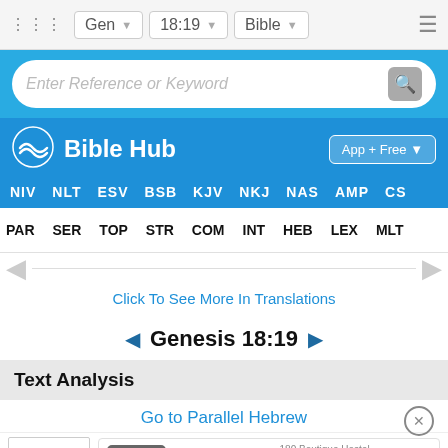Gen  18:19  Bible
Enter Reference or Keyword
Bible Hub
App + Free
NIV  NLT  ESV  BSB  KJV  NKJ  NAS  AMP  CS
PAR  SER  TOP  STR  COM  INT  HEB  LEX  MLT
Click To See More In Translations
Genesis 18:19
Text Analysis
Go to Parallel Hebrew
| Strong | gy |
| --- | --- |
| 3588 |  |
180 Boutique Hostel  הזמינו עכשיו  180°